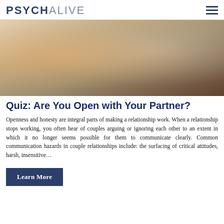PSYCHALIVE
[Figure (photo): A couple sitting on a grey sofa facing each other in an intimate pose, with a fireplace glowing in the background. Both are wearing white/cream sweaters.]
Quiz: Are You Open with Your Partner?
Openness and honesty are integral parts of making a relationship work. When a relationship stops working, you often hear of couples arguing or ignoring each other to an extent in which it no longer seems possible for them to communicate clearly. Common communication hazards in couple relationships include: the surfacing of critical attitudes, harsh, insensitive…
Learn More